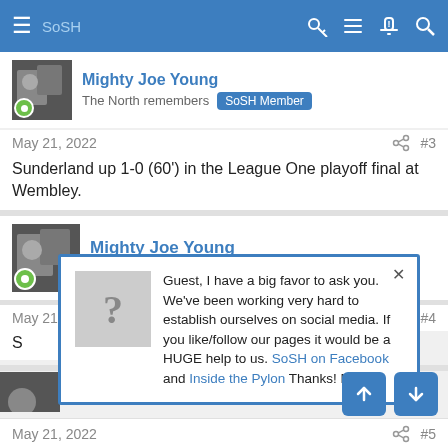SoSH — navigation bar with menu, key, list, alert, search icons
Mighty Joe Young — The North remembers — SoSH Member (user header, post 1)
May 21, 2022  #3
Sunderland up 1-0 (60') in the League One playoff final at Wembley.
Mighty Joe Young — The North remembers — SoSH Member (user header, post 2)
May 21, 2022  #4
S[underland...]
Guest, I have a big favor to ask you. We've been working very hard to establish ourselves on social media. If you like/follow our pages it would be a HUGE help to us. SoSH on Facebook and Inside the Pylon Thanks! Nip
May 21, 2022  #5